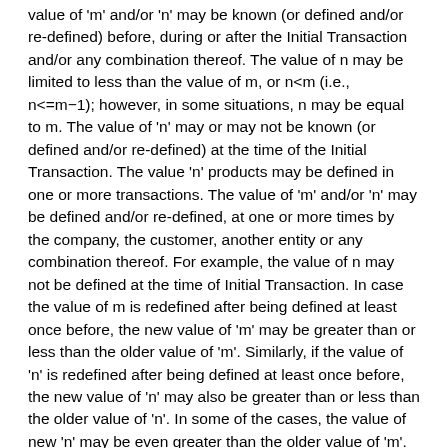value of 'm' and/or 'n' may be known (or defined and/or re-defined) before, during or after the Initial Transaction and/or any combination thereof. The value of n may be limited to less than the value of m, or n<m (i.e., n<=m−1); however, in some situations, n may be equal to m. The value of 'n' may or may not be known (or defined and/or re-defined) at the time of the Initial Transaction. The value 'n' products may be defined in one or more transactions. The value of 'm' and/or 'n' may be defined and/or re-defined, at one or more times by the company, the customer, another entity or any combination thereof. For example, the value of n may not be defined at the time of Initial Transaction. In case the value of m is redefined after being defined at least once before, the new value of 'm' may be greater than or less than the older value of 'm'. Similarly, if the value of 'n' is redefined after being defined at least once before, the new value of 'n' may also be greater than or less than the older value of 'n'. In some of the cases, the value of new 'n' may be even greater than the older value of 'm'. The 'n' Chosen Products may include one or more products other than said 'm' products.
The company may award two or more confirmed products